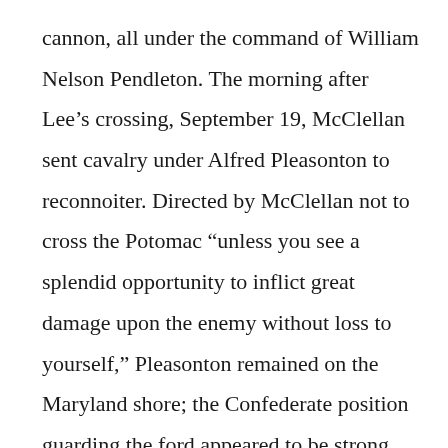cannon, all under the command of William Nelson Pendleton. The morning after Lee’s crossing, September 19, McClellan sent cavalry under Alfred Pleasonton to reconnoiter. Directed by McClellan not to cross the Potomac “unless you see a splendid opportunity to inflict great damage upon the enemy without loss to yourself,” Pleasonton remained on the Maryland shore; the Confederate position guarding the ford appeared to be strong.